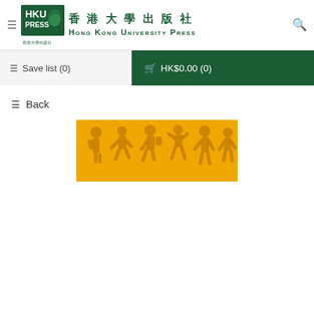香港大學出版社 HONG KONG UNIVERSITY PRESS
Save list (0)
HK$0.00 (0)
Back
[Figure (illustration): Yellow banner with silhouettes of people figures in darker golden yellow, depicting various human activities.]